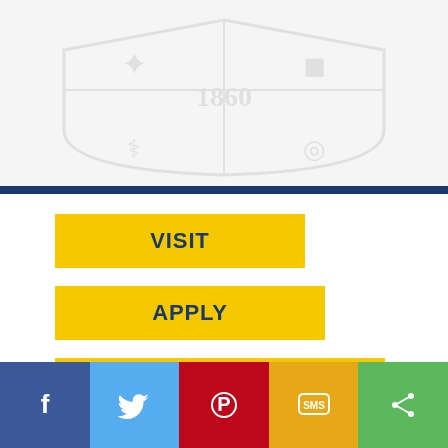[Figure (logo): Augustana College seal/crest watermark with 1860 text, light gray background]
VISIT
APPLY
GET INFO
Augustana College
639 38th Street
Rock Island, Ill., 61201 (map)
800-798-8100
[Figure (infographic): Social media bar with Facebook, Twitter, Pinterest, SMS, and Share buttons]